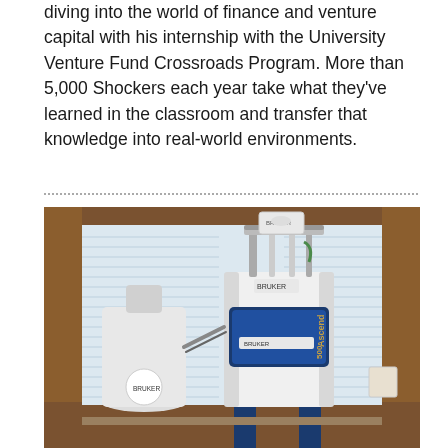diving into the world of finance and venture capital with his internship with the University Venture Fund Crossroads Program. More than 5,000 Shockers each year take what they've learned in the classroom and transfer that knowledge into real-world environments.
[Figure (photo): A Bruker Ascend 500 NMR spectrometer in a laboratory setting, with white and blue cylindrical body, mounted equipment on top, a separate white liquid nitrogen dewar on the left with tubing, and wood-paneled walls with venetian blinds in the background.]